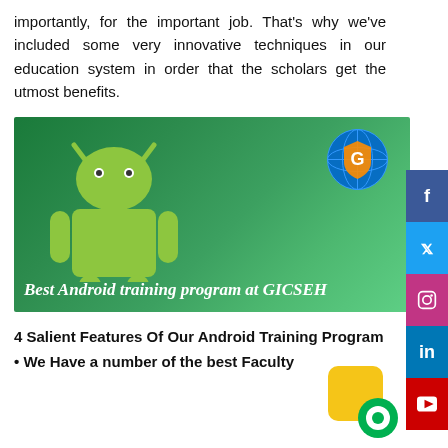importantly, for the important job. That's why we've included some very innovative techniques in our education system in order that the scholars get the utmost benefits.
[Figure (illustration): Green banner with Android robot mascot on the left, GICSEH globe logo on the top right, and text 'Best Android training program at GICSEH' at the bottom.]
4 Salient Features Of Our Android Training Program
• We Have a number of the best Faculty